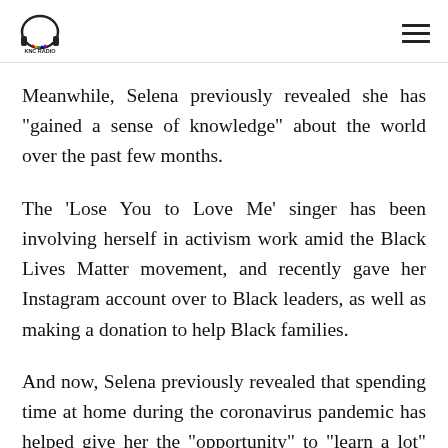KNC RADIO
Meanwhile, Selena previously revealed she has "gained a sense of knowledge" about the world over the past few months.
The 'Lose You to Love Me' singer has been involving herself in activism work amid the Black Lives Matter movement, and recently gave her Instagram account over to Black leaders, as well as making a donation to help Black families.
And now, Selena previously revealed that spending time at home during the coronavirus pandemic has helped give her the "opportunity" to "learn a lot" about her country and the wider world, especially in relation